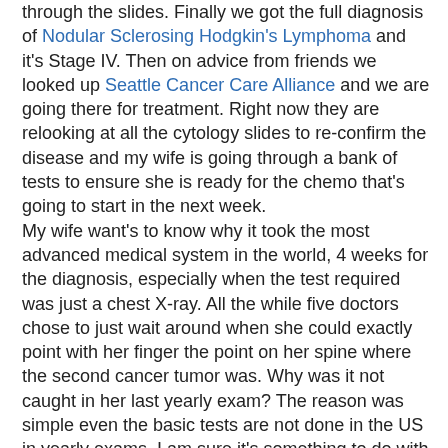through the slides. Finally we got the full diagnosis of Nodular Sclerosing Hodgkin's Lymphoma and it's Stage IV. Then on advice from friends we looked up Seattle Cancer Care Alliance and we are going there for treatment. Right now they are relooking at all the cytology slides to re-confirm the disease and my wife is going through a bank of tests to ensure she is ready for the chemo that's going to start in the next week.
My wife want's to know why it took the most advanced medical system in the world, 4 weeks for the diagnosis, especially when the test required was just a chest X-ray. All the while five doctors chose to just wait around when she could exactly point with her finger the point on her spine where the second cancer tumor was. Why was it not caught in her last yearly exam? The reason was simple even the basic tests are not done in the US in yearly exams. I am sure it's something to do with the costs. In India a yearly exam is extremely thorough. I am sure they go overboard and expose people to X-ray and such but in case this was still going on, it'd surely have been caught.
However, once this was diagnosed things started moving extremely swiftly. Doctors kept calling other doctors and